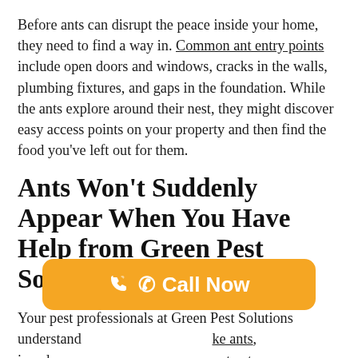Before ants can disrupt the peace inside your home, they need to find a way in. Common ant entry points include open doors and windows, cracks in the walls, plumbing fixtures, and gaps in the foundation. While the ants explore around their nest, they might discover easy access points on your property and then find the food you've left out for them.
Ants Won't Suddenly Appear When You Have Help from Green Pest Solutions.
Your pest professionals at Green Pest Solutions understand [Call Now button overlay] ke ants, invade yo [Call Now button overlay] ent ants, carpenter ants, or any other kind of ant, our
[Figure (other): Orange rounded button with phone icon and white text reading 'Call Now']